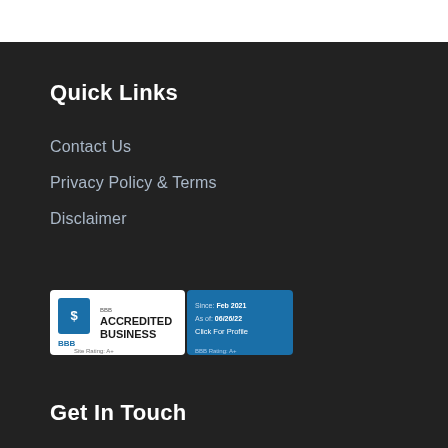Quick Links
Contact Us
Privacy Policy & Terms
Disclaimer
[Figure (logo): BBB Accredited Business badge. Since Feb 2021. As of 06/26/22. Click For Profile. BBB Rating A+.]
Get In Touch